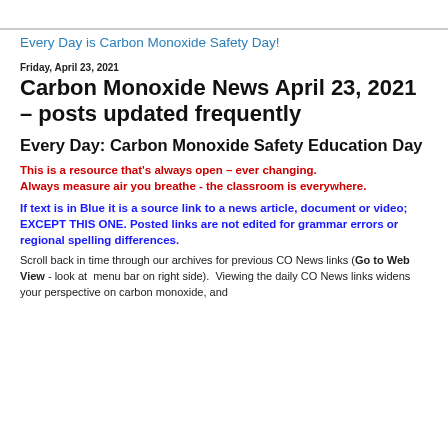Every Day is Carbon Monoxide Safety Day!
Friday, April 23, 2021
Carbon Monoxide News April 23, 2021 – posts updated frequently
Every Day: Carbon Monoxide Safety Education Day
This is a resource that's always open – ever changing.
Always measure air you breathe - the classroom is everywhere.
If text is in Blue it is a source link to a news article, document or video; EXCEPT THIS ONE. Posted links are not edited for grammar errors or regional spelling differences.
Scroll back in time through our archives for previous CO News links (Go to Web View - look at  menu bar on right side).  Viewing the daily CO News links widens your perspective on carbon monoxide, and